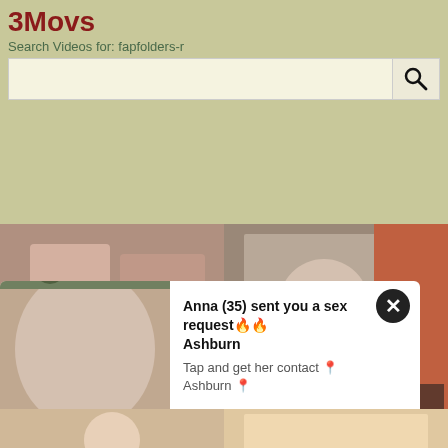3Movs
Search Videos for: fapfolders-r
[Figure (screenshot): Search bar with magnifying glass icon on tan background]
[Figure (photo): Video thumbnail grid showing adult content website with popup notification reading: Anna (35) sent you a sex request Ashburn. Tap and get her contact Ashburn.]
Anna (35) sent you a sex request🔥🔥 Ashburn
Tap and get her contact 📍Ashburn 📍